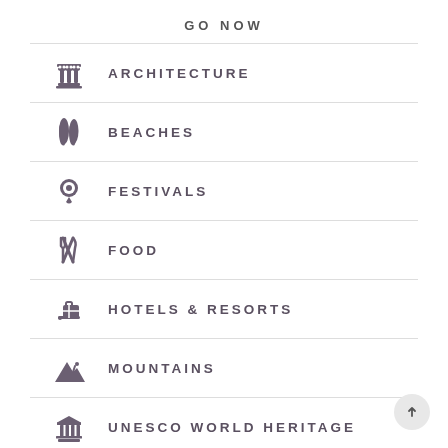GO NOW
ARCHITECTURE
BEACHES
FESTIVALS
FOOD
HOTELS & RESORTS
MOUNTAINS
UNESCO WORLD HERITAGE